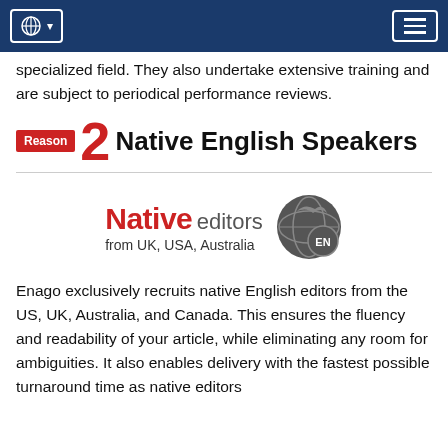Navigation bar with globe/language selector and menu button
specialized field. They also undertake extensive training and are subject to periodical performance reviews.
Reason 2 Native English Speakers
[Figure (logo): Native editors from UK, USA, Australia logo with globe/EN icon]
Enago exclusively recruits native English editors from the US, UK, Australia, and Canada. This ensures the fluency and readability of your article, while eliminating any room for ambiguities. It also enables delivery with the fastest possible turnaround time as native editors